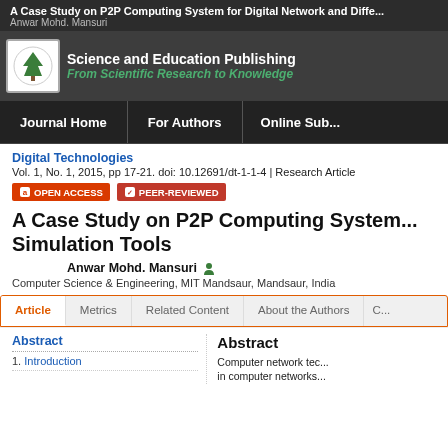A Case Study on P2P Computing System for Digital Network and Differ... | Anwar Mohd. Mansuri
[Figure (logo): Science and Education Publishing logo with tree/book symbol and tagline 'From Scientific Research to Knowledge']
Journal Home | For Authors | Online Sub...
Digital Technologies
Vol. 1, No. 1, 2015, pp 17-21. doi: 10.12691/dt-1-1-4 | Research Article
OPEN ACCESS | PEER-REVIEWED
A Case Study on P2P Computing System... Simulation Tools
Anwar Mohd. Mansuri
Computer Science & Engineering, MIT Mandsaur, Mandsaur, India
Article | Metrics | Related Content | About the Authors
Abstract
1. Introduction
Abstract
Computer network tec... in computer networks...